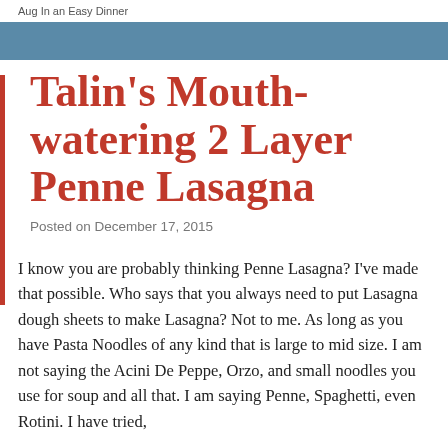Aug In an Easy Dinner
Talin's Mouth-watering 2 Layer Penne Lasagna
Posted on December 17, 2015
I know you are probably thinking Penne Lasagna? I've made that possible. Who says that you always need to put Lasagna dough sheets to make Lasagna? Not to me. As long as you have Pasta Noodles of any kind that is large to mid size. I am not saying the Acini De Peppe, Orzo, and small noodles you use for soup and all that. I am saying Penne, Spaghetti, even Rotini. I have tried,